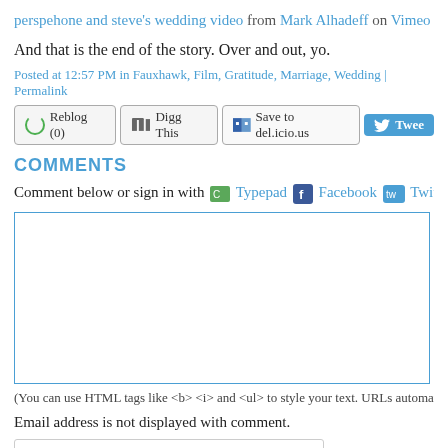perspehone and steve's wedding video from Mark Alhadeff on Vimeo
And that is the end of the story. Over and out, yo.
Posted at 12:57 PM in Fauxhawk, Film, Gratitude, Marriage, Wedding | Permalink
[Figure (screenshot): Social sharing buttons: Reblog (0), Digg This, Save to del.icio.us, Tweet]
COMMENTS
Comment below or sign in with Typepad Facebook Twitter and m...
[Figure (screenshot): Comment text area box]
(You can use HTML tags like <b> <i> and <ul> to style your text. URLs automatically linke...
Email address is not displayed with comment.
Name
Email Address